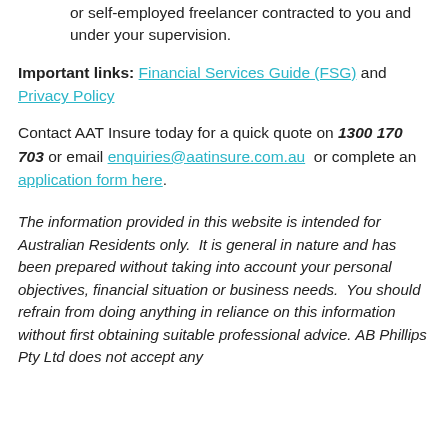or self-employed freelancer contracted to you and under your supervision.
Important links: Financial Services Guide (FSG) and Privacy Policy
Contact AAT Insure today for a quick quote on 1300 170 703 or email enquiries@aatinsure.com.au or complete an application form here.
The information provided in this website is intended for Australian Residents only.  It is general in nature and has been prepared without taking into account your personal objectives, financial situation or business needs.  You should refrain from doing anything in reliance on this information without first obtaining suitable professional advice. AB Phillips Pty Ltd does not accept any